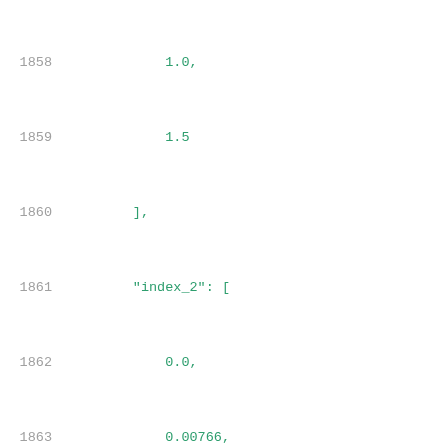Code listing lines 1858-1879 showing JSON array data with index_2 and values arrays containing floating point numbers